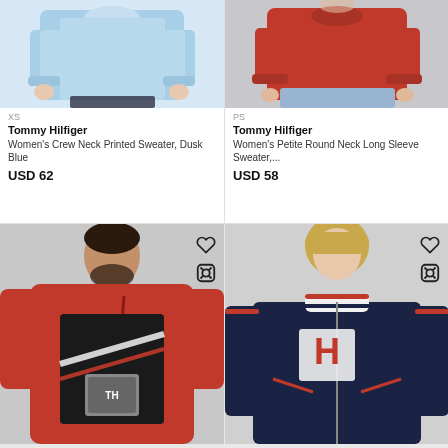[Figure (photo): Woman wearing a light blue crew neck sweater against white background]
XS
Tommy Hilfiger
Women's Crew Neck Printed Sweater, Dusk Blue
USD 62
[Figure (photo): Woman wearing a red long sleeve sweater with light blue jeans against grey background]
PS
Tommy Hilfiger
Women's Petite Round Neck Long Sleeve Sweater,...
USD 58
[Figure (photo): Man wearing a red graphic hoodie with Tommy Hilfiger crest design against grey background]
[Figure (photo): Woman wearing a navy blue varsity bomber jacket with H logo in red and white against grey background]